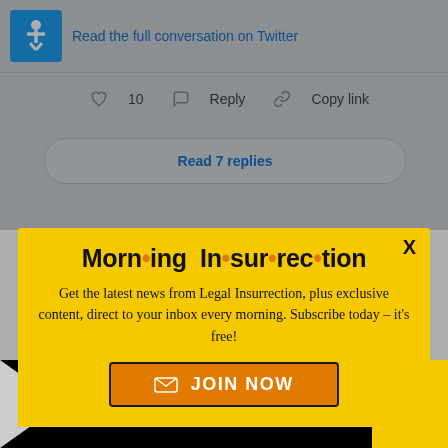[Figure (screenshot): Twitter/social media interface showing 'Read the full conversation on Twitter' link, reply count of 10, Reply and Copy link actions, and a 'Read 7 replies' button]
[Figure (infographic): Yellow modal popup for 'Morning Insurrection' newsletter signup from Legal Insurrection with JOIN NOW button]
[Figure (screenshot): Bottom advertisement banner for 'The Perspective' with text 'SEE WHAT YOU'RE MISSING' and READ MORE button in yellow]